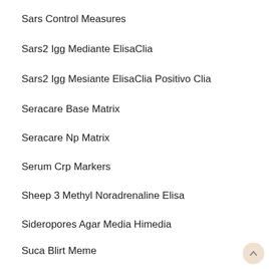Sars Control Measures
Sars2 Igg Mediante ElisaClia
Sars2 Igg Mesiante ElisaClia Positivo Clia
Seracare Base Matrix
Seracare Np Matrix
Serum Crp Markers
Sheep 3 Methyl Noradrenaline Elisa
Sideropores Agar Media Himedia
Suca Blirt Meme
Tail Reagent Maus